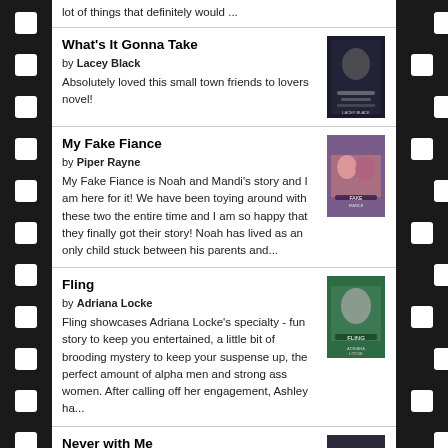lot of things that definitely would ...
What's It Gonna Take
by Lacey Black
Absolutely loved this small town friends to lovers novel!
[Figure (photo): Book cover for What's It Gonna Take by Lacey Black]
My Fake Fiance
by Piper Rayne
My Fake Fiance is Noah and Mandi's story and I am here for it! We have been toying around with these two the entire time and I am so happy that they finally got their story! Noah has lived as an only child stuck between his parents and...
[Figure (photo): Book cover for My Fake Fiance by Piper Rayne]
Fling
by Adriana Locke
Fling showcases Adriana Locke's specialty - fun story to keep you entertained, a little bit of brooding mystery to keep your suspense up, the perfect amount of alpha men and strong ass women. After calling off her engagement, Ashley ha...
[Figure (photo): Book cover for Fling by Adriana Locke]
Never with Me
by Kaylee Ryan
[Figure (photo): Book cover for Never with Me by Kaylee Ryan]